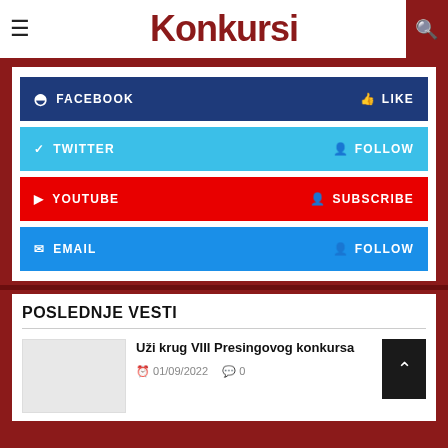Konkursi
FACEBOOK  LIKE
TWITTER  FOLLOW
YOUTUBE  SUBSCRIBE
EMAIL  FOLLOW
POSLEDNJE VESTI
Uži krug VIII Presingovog konkursa
01/09/2022  0